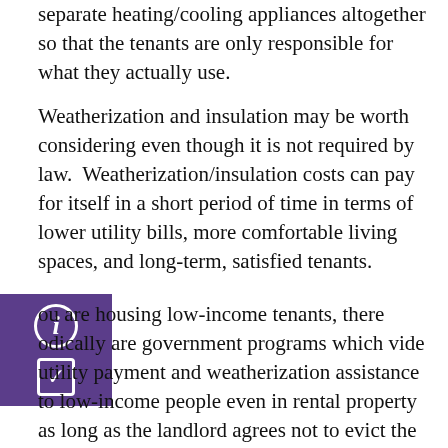separate heating/cooling appliances altogether so that the tenants are only responsible for what they actually use.
Weatherization and insulation may be worth considering even though it is not required by law. Weatherization/insulation costs can pay for itself in a short period of time in terms of lower utility bills, more comfortable living spaces, and long-term, satisfied tenants.
If you are housing low-income tenants, there periodically are government programs which provide utility payment and weatherization assistance to low-income people even in rental property as long as the landlord agrees not to evict the tenant without good cause or raise